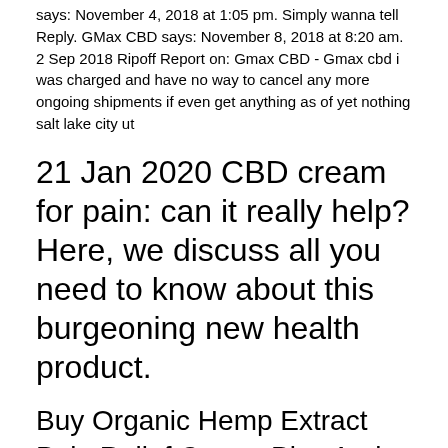says: November 4, 2018 at 1:05 pm. Simply wanna tell Reply. GMax CBD says: November 8, 2018 at 8:20 am. 2 Sep 2018 Ripoff Report on: Gmax CBD - Gmax cbd i was charged and have no way to cancel any more ongoing shipments if even get anything as of yet nothing salt lake city ut
21 Jan 2020 CBD cream for pain: can it really help? Here, we discuss all you need to know about this burgeoning new health product.
Buy Organic Hemp Extract Pain Relief Cream Plus Arnica and MSM on Amazon.com ✓ FREE SHIPPING on qualified orders.